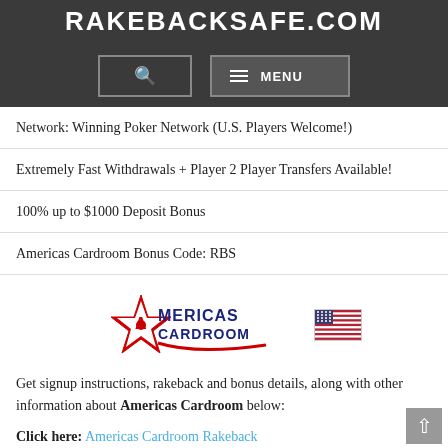RAKEBACKSAFE.COM
Network: Winning Poker Network (U.S. Players Welcome!)
Extremely Fast Withdrawals + Player 2 Player Transfers Available!
100% up to $1000 Deposit Bonus
Americas Cardroom Bonus Code: RBS
[Figure (logo): Americas Cardroom logo with US flag]
Get signup instructions, rakeback and bonus details, along with other information about Americas Cardroom below:
Click here: Americas Cardroom Rakeback